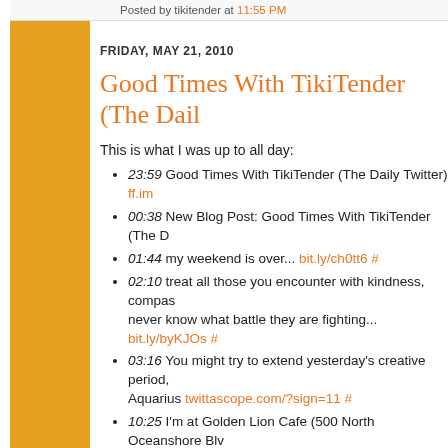Posted by tikitender at 11:55 PM
FRIDAY, MAY 21, 2010
Good Times With TikiTender (The Dail...
This is what I was up to all day:
23:59 Good Times With TikiTender (The Daily Twitter) ff.im...
00:38 New Blog Post: Good Times With TikiTender (The D...
01:44 my weekend is over... bit.ly/ch0tt6 #
02:10 treat all those you encounter with kindness, compas... never know what battle they are fighting... bit.ly/byKJOs #
03:16 You might try to extend yesterday's creative period,... Aquarius twittascope.com/?sign=11 #
10:25 I'm at Golden Lion Cafe (500 North Oceanshore Blv... 4sq.com/c1Yvii #
17:01 Jumping in the ocean (@ Flagler Beach) 4sq.com/c...
18:57 Grilling out tonight. Hot dogs and grilled peaches. S... for dessert! #
20:09 Tonight's Dinner: Hot Dogs Deluxe! ff.im/-klTcJ #
20:27 Yummo! twitpic.com/1ptnbw #
20:28 Road in Blondie: I've never had this much tossing...